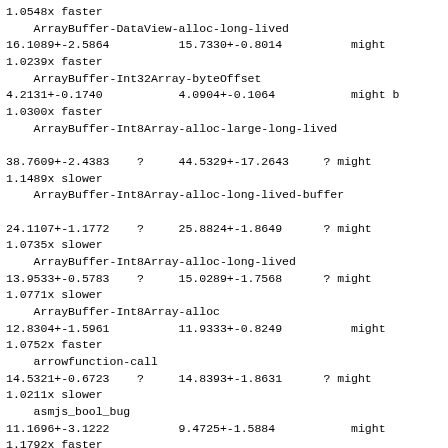1.0548x faster
    ArrayBuffer-DataView-alloc-long-lived
16.1089+-2.5864          15.7330+-0.8014          might
1.0239x faster
    ArrayBuffer-Int32Array-byteOffset
4.2131+-0.1740           4.0904+-0.1064           might b
1.0300x faster
    ArrayBuffer-Int8Array-alloc-large-long-lived

38.7609+-2.4383    ?     44.5329+-17.2643     ? might
1.1489x slower
    ArrayBuffer-Int8Array-alloc-long-lived-buffer

24.1107+-1.1772    ?     25.8824+-1.8649      ? might
1.0735x slower
    ArrayBuffer-Int8Array-alloc-long-lived
13.9533+-0.5783    ?     15.0289+-1.7568      ? might
1.0771x slower
    ArrayBuffer-Int8Array-alloc
12.8304+-1.5961          11.9333+-0.8249          might
1.0752x faster
    arrowfunction-call
14.5321+-0.6723    ?     14.8393+-1.8631      ? might
1.0211x slower
    asmjs_bool_bug
11.1696+-3.1222          9.4725+-1.5884           might
1.1792x faster
    assign-custom-setter-polymorphic
2.9991+-0.1494     ?     3.2196+-0.4345       ? might b
1.0735x slower